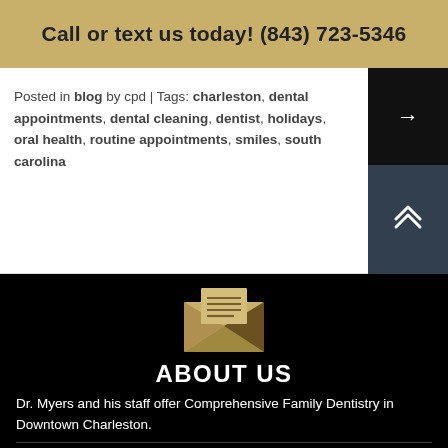Call or text us today! (843) 723-5346
Posted in blog by cpd | Tags: charleston, dental appointments, dental cleaning, dentist, holidays, oral health, routine appointments, smiles, south carolina
[Figure (illustration): Envelope icon in gold/tan color on black background]
ABOUT US
Dr. Myers and his staff offer Comprehensive Family Dentistry in Downtown Charleston.
112 1/2 Ashley Ave., Charleston, SC 29401